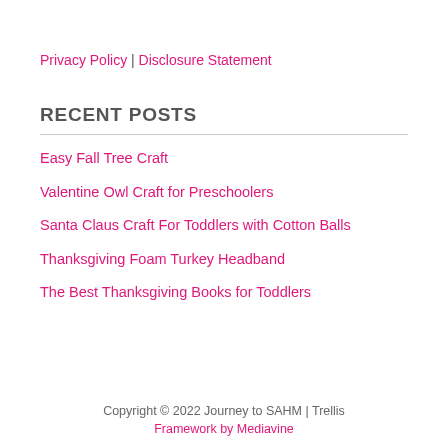Privacy Policy | Disclosure Statement
RECENT POSTS
Easy Fall Tree Craft
Valentine Owl Craft for Preschoolers
Santa Claus Craft For Toddlers with Cotton Balls
Thanksgiving Foam Turkey Headband
The Best Thanksgiving Books for Toddlers
Copyright © 2022 Journey to SAHM | Trellis Framework by Mediavine